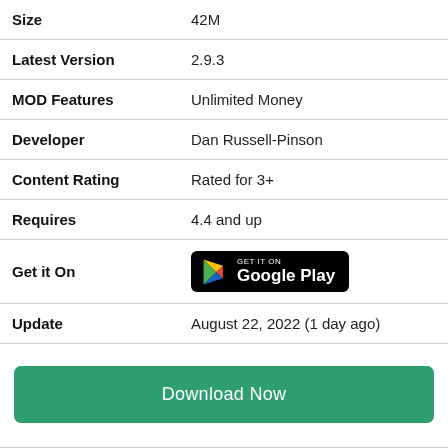| Field | Value |
| --- | --- |
| Size | 42M |
| Latest Version | 2.9.3 |
| MOD Features | Unlimited Money |
| Developer | Dan Russell-Pinson |
| Content Rating | Rated for 3+ |
| Requires | 4.4 and up |
| Get it On | [Google Play button] |
| Update | August 22, 2022 (1 day ago) |
Download Now
MOD Info ?